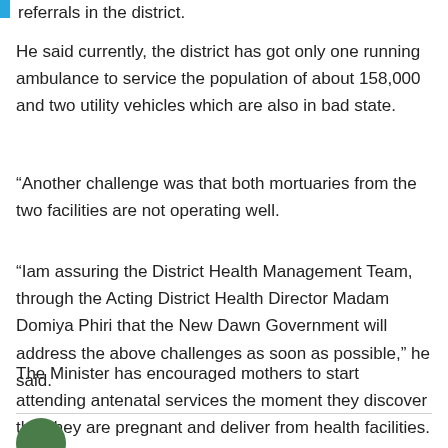referrals in the district.
He said currently, the district has got only one running ambulance to service the population of about 158,000 and two utility vehicles which are also in bad state.
“Another challenge was that both mortuaries from the two facilities are not operating well.
“Iam assuring the District Health Management Team, through the Acting District Health Director Madam Domiya Phiri that the New Dawn Government will address the above challenges as soon as possible,” he said.
The Minister has encouraged mothers to start attending antenatal services the moment they discover that they are pregnant and deliver from health facilities.